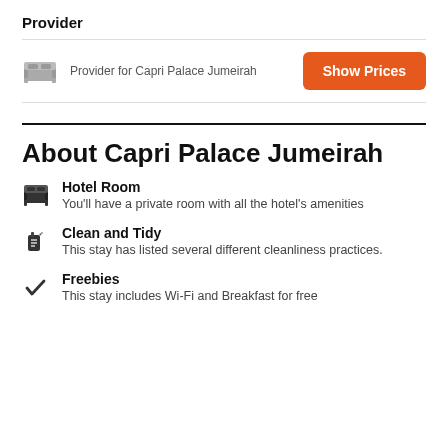Provider
Provider for Capri Palace Jumeirah
Show Prices
About Capri Palace Jumeirah
Hotel Room
You'll have a private room with all the hotel's amenities
Clean and Tidy
This stay has listed several different cleanliness practices.
Freebies
This stay includes Wi-Fi and Breakfast for free